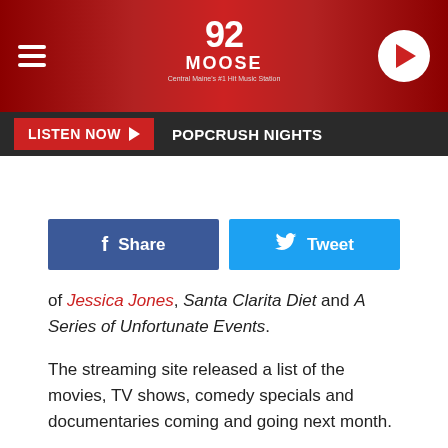[Figure (logo): 92 Moose radio station header with hamburger menu, logo, and play button on dark red gradient background]
LISTEN NOW ▶  POPCRUSH NIGHTS
[Figure (other): Facebook Share and Twitter Tweet social sharing buttons]
of Jessica Jones, Santa Clarita Diet and A Series of Unfortunate Events.
The streaming site released a list of the movies, TV shows, comedy specials and documentaries coming and going next month.
Here's the full list of what's being added to Netflix in March: